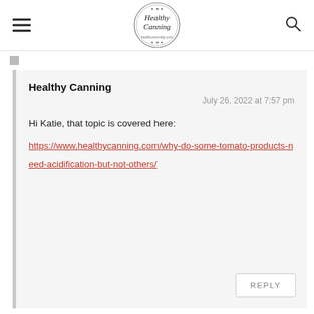Healthy Canning
Healthy Canning
July 26, 2022 at 7:57 pm
Hi Katie, that topic is covered here:
https://www.healthycanning.com/why-do-some-tomato-products-need-acidification-but-not-others/
REPLY